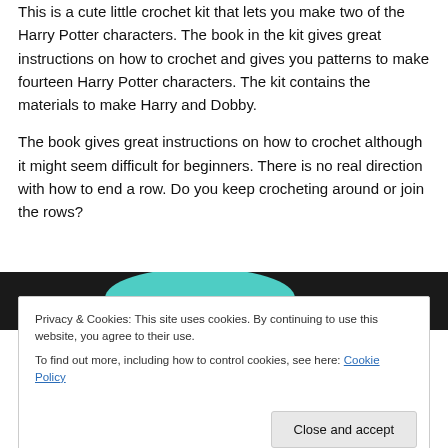This is a cute little crochet kit that lets you make two of the Harry Potter characters. The book in the kit gives great instructions on how to crochet and gives you patterns to make fourteen Harry Potter characters. The kit contains the materials to make Harry and Dobby.
The book gives great instructions on how to crochet although it might seem difficult for beginners. There is no real direction with how to end a row. Do you keep crocheting around or join the rows?
[Figure (photo): Partial image showing dark background with teal/turquoise arc shape at top]
Privacy & Cookies: This site uses cookies. By continuing to use this website, you agree to their use.
To find out more, including how to control cookies, see here: Cookie Policy
Close and accept